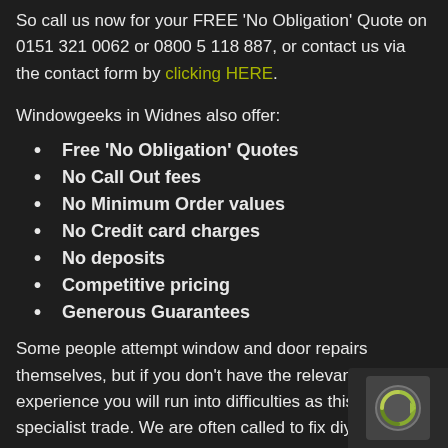So call us now for your FREE 'No Obligation' Quote on 0151 321 0062 or 0800 5 118 887, or contact us via the contact form by clicking HERE.
Windowgeeks in Widnes also offer:
Free 'No Obligation' Quotes
No Call Out fees
No Minimum Order values
No Credit card charges
No deposits
Competitive pricing
Generous Guarantees
Some people attempt window and door repairs themselves, but if you don't have the relevant experience you will run into difficulties as this is specialist trade. We are often called to fix diy